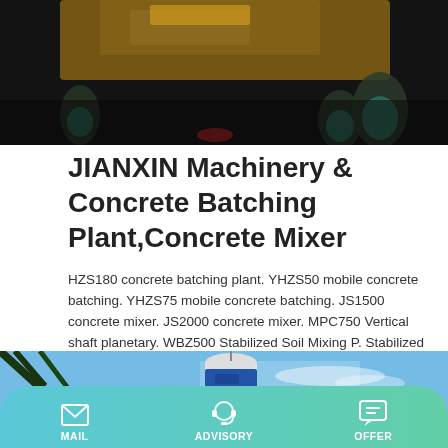[Figure (photo): Dark nighttime photo of yellow heavy machinery/concrete equipment with workers in teal uniforms]
JIANXIN Machinery & Concrete Batching Plant,Concrete Mixer
HZS180 concrete batching plant. YHZS50 mobile concrete batching. YHZS75 mobile concrete batching. JS1500 concrete mixer. JS2000 concrete mixer. MPC750 Vertical shaft planetary. WBZ500 Stabilized Soil Mixing P. Stabilized soil mixing plant in. 3.5 cubic meter self-loading mi. HBTS80-16 concrete pump. QT18-20 fire free brick machine
[Figure (photo): Blue sky with industrial concrete silo/storage tank structure and tree branches in foreground]
MAIL   ADVISORY   OFFER